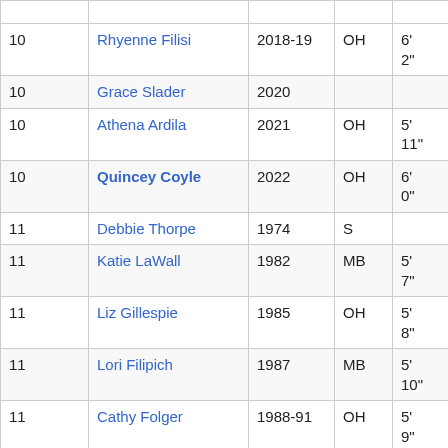| # | Name | Year | Pos | Ht | ... |
| --- | --- | --- | --- | --- | --- |
| 10 | Rhyenne Filisi | 2018-19 | OH | 6' 2" | Wa... |
| 10 | Grace Slader | 2020 |  |  |  |
| 10 | Athena Ardila | 2021 | OH | 5' 11" | We... |
| 10 | Quincey Coyle | 2022 | OH | 6' 0" | For... CO... |
| 11 | Debbie Thorpe | 1974 | S |  | Sev... |
| 11 | Katie LaWall | 1982 | MB | 5' 7" | Ton... NJ... |
| 11 | Liz Gillespie | 1985 | OH | 5' 8" | Irwi... |
| 11 | Lori Filipich | 1987 | MB | 5' 10" | Pitt... |
| 11 | Cathy Folger | 1988-91 | OH | 5' 9" | Cle... NC... |
| 11 | Jennifer Hoffman | 1992-95 | MB | 5' 11" | Ge... |